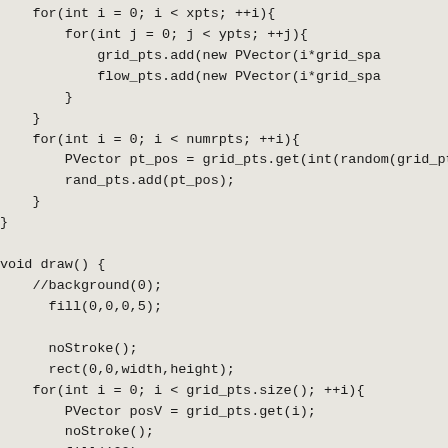for(int i = 0; i < xpts; ++i){
    for(int j = 0; j < ypts; ++j){
        grid_pts.add(new PVector(i*grid_space,j*grid_spa
        flow_pts.add(new PVector(i*grid_space,j*grid_spa
    }
}
for(int i = 0; i < numrpts; ++i){
    PVector pt_pos = grid_pts.get(int(random(grid_pts.
    rand_pts.add(pt_pos);
}
void draw() {
    //background(0);
    fill(0,0,0,5);

    noStroke();
    rect(0,0,width,height);
    for(int i = 0; i < grid_pts.size(); ++i){
        PVector posV = grid_pts.get(i);
        noStroke();
        fill(100);
        ellipse(posV.x,posV.y,5,5);
        if(dist(mouseX,mouseY,posV.x,posV.y) < 9){
            fill(0,255,255);